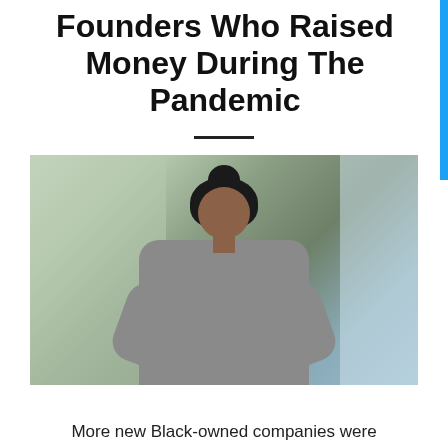Founders Who Raised Money During The Pandemic
[Figure (photo): Portrait photo of a Black woman with hair in a bun, wearing a grey oversized sweatshirt, hands on hips, standing in front of a bright window/interior background.]
More new Black-owned companies were